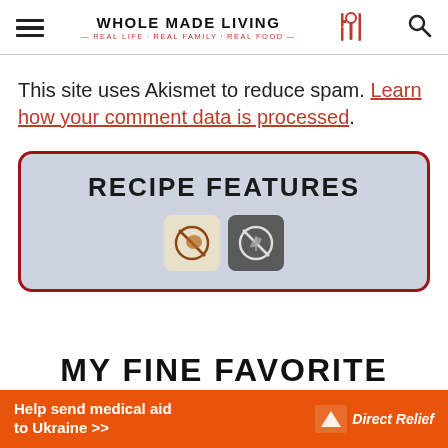WHOLE MADE LIVING — REAL LIFE · REAL FAMILY · REAL FOOD
This site uses Akismet to reduce spam. Learn how your comment data is processed.
[Figure (infographic): Recipe Features box with dark red border on light blue-grey background. Contains bold uppercase text 'RECIPE FEATURES' and two icon badges: a meat-free icon on light background and a gluten-free icon on dark background.]
MY FINE FAVORITE (partially cut off)
[Figure (infographic): Orange advertisement banner: 'Help send medical aid to Ukraine >>' with Direct Relief logo on right.]